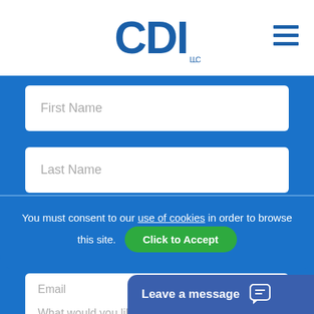CDI LLC
First Name
Last Name
You must consent to our use of cookies in order to browse this site. Click to Accept
Email
What would you like to discuss?
Leave a message